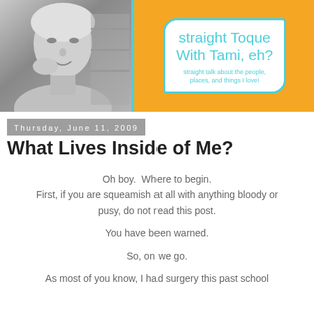[Figure (photo): Blog header banner with black-and-white photo of a woman on the left and decorative logo 'Straight Toque With Tami, eh? straight talk about the people, places, and things I love!' on orange background on the right]
Thursday, June 11, 2009
What Lives Inside of Me?
Oh boy.  Where to begin.
First, if you are squeamish at all with anything bloody or pusy, do not read this post.

You have been warned.

So, on we go.

As most of you know, I had surgery this past school